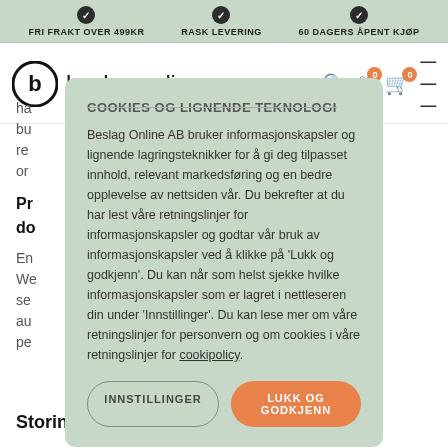FRI FRAKT OVER 499KR | RASK LEVERING | 60 DAGERS ÅPENT KJØP
[Figure (logo): Beslag Online logo with circular B icon and text 'beslag online']
COOKIES OG LIGNENDE TEKNOLOGI
Beslag Online AB bruker informasjonskapsler og lignende lagringsteknikker for å gi deg tilpasset innhold, relevant markedsføring og en bedre opplevelse av nettsiden vår. Du bekrefter at du har lest våre retningslinjer for informasjonskapsler og godtar vår bruk av informasjonskapsler ved å klikke på 'Lukk og godkjenn'. Du kan når som helst sjekke hvilke informasjonskapsler som er lagret i nettleseren din under 'Innstillinger'. Du kan lese mer om våre retningslinjer for personvern og om cookies i våre retningslinjer for cookipolicy.
INNSTILLINGER
LUKK OG GODKJENN
Storing your personal information